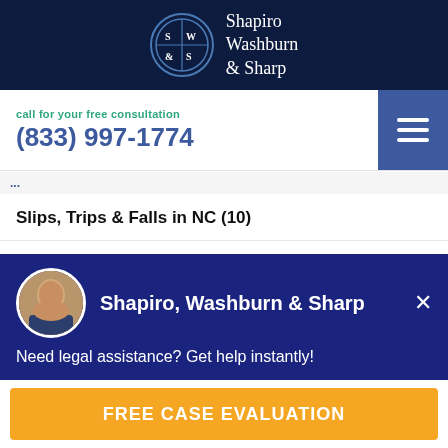[Figure (logo): Shapiro Washburn & Sharp law firm logo with circular emblem and firm name in white text on dark navy background]
call for your free consultation
(833) 997-1774
...partial navigation link text...
Slips, Trips & Falls in NC (10)
Talcum Powder Cancer Lawsuits (8)
Truck Accidents in VA (518)
Virginia Personal Injury (505)
Shapiro, Washburn & Sharp
Need legal assistance? Get help instantly!
FREE CASE EVALUATION